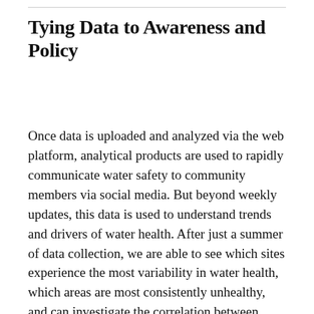Tying Data to Awareness and Policy
Once data is uploaded and analyzed via the web platform, analytical products are used to rapidly communicate water safety to community members via social media. But beyond weekly updates, this data is used to understand trends and drivers of water health. After just a summer of data collection, we are able to see which sites experience the most variability in water health, which areas are most consistently unhealthy, and can investigate the correlation between rainfall and water health. Preliminary results show a statistically significant correlation between